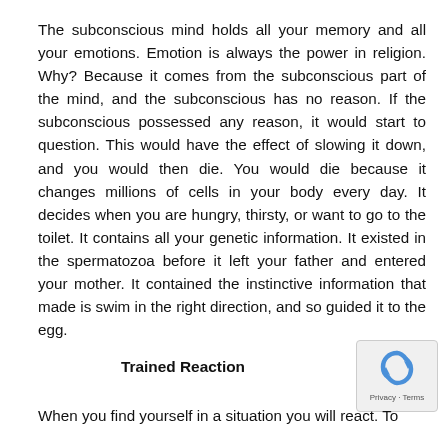The subconscious mind holds all your memory and all your emotions. Emotion is always the power in religion. Why? Because it comes from the subconscious part of the mind, and the subconscious has no reason. If the subconscious possessed any reason, it would start to question. This would have the effect of slowing it down, and you would then die. You would die because it changes millions of cells in your body every day. It decides when you are hungry, thirsty, or want to go to the toilet. It contains all your genetic information. It existed in the spermatozoa before it left your father and entered your mother. It contained the instinctive information that made is swim in the right direction, and so guided it to the egg.
Trained Reaction
When you find yourself in a situation you will react. To